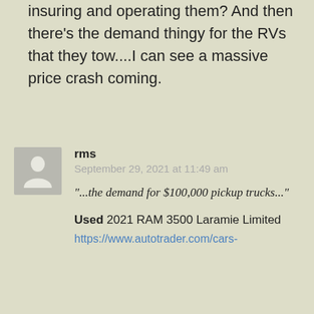insuring and operating them? And then there’s the demand thingy for the RVs that they tow....I can see a massive price crash coming.
rms
September 29, 2021 at 11:49 am
“...the demand for $100,000 pickup trucks...”
Used 2021 RAM 3500 Laramie Limited
https://www.autotrader.com/cars-